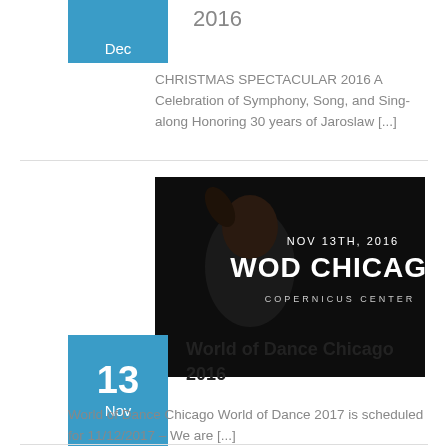[Figure (other): Partial blue date badge showing 'Dec' at top of page, partially cropped]
2016
CHRISTMAS SPECTACULAR 2016 A Celebration of Symphony, Song, and Sing-along Honoring 30 years of Jaroslaw [...]
[Figure (photo): Event poster for World of Dance Chicago 2016 at Copernicus Center on Nov 13th, 2016. Dark background with performer image and bold white text.]
13 Nov
World of Dance Chicago 2016
World of Dance Chicago World of Dance 2017 is scheduled for 11/12/2017 – We are [...]